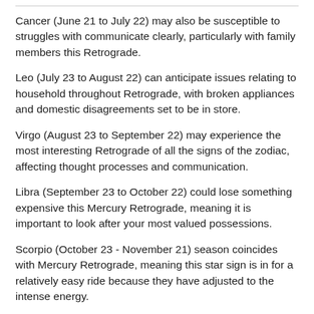Cancer (June 21 to July 22) may also be susceptible to struggles with communicate clearly, particularly with family members this Retrograde.
Leo (July 23 to August 22) can anticipate issues relating to household throughout Retrograde, with broken appliances and domestic disagreements set to be in store.
Virgo (August 23 to September 22) may experience the most interesting Retrograde of all the signs of the zodiac, affecting thought processes and communication.
Libra (September 23 to October 22) could lose something expensive this Mercury Retrograde, meaning it is important to look after your most valued possessions.
Scorpio (October 23 - November 21) season coincides with Mercury Retrograde, meaning this star sign is in for a relatively easy ride because they have adjusted to the intense energy.
Sagittarius (November 22 to December 21) may spill the beans this Retrograde, by unintentionally revealing important secrets.